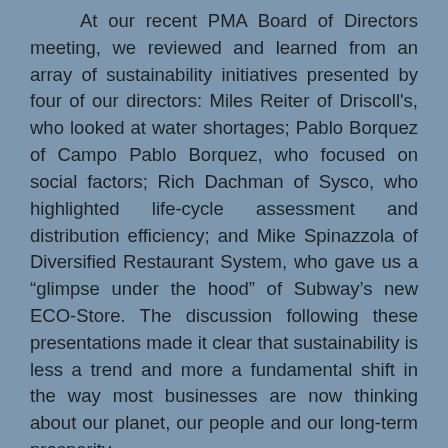At our recent PMA Board of Directors meeting, we reviewed and learned from an array of sustainability initiatives presented by four of our directors: Miles Reiter of Driscoll's, who looked at water shortages; Pablo Borquez of Campo Pablo Borquez, who focused on social factors; Rich Dachman of Sysco, who highlighted life-cycle assessment and distribution efficiency; and Mike Spinazzola of Diversified Restaurant System, who gave us a “glimpse under the hood” of Subway’s new ECO-Store. The discussion following these presentations made it clear that sustainability is less a trend and more a fundamental shift in the way most businesses are now thinking about our planet, our people and our long-term prosperity.
Like many of our members, PMA is early on our sustainability journey, and we are finding there’s much to learn — and many ways we can help. Within our industry, we are creating forums to share our discoveries, including this research and our new sustainability Web page found at http://www.pma.com/issues/sustainability.com. We